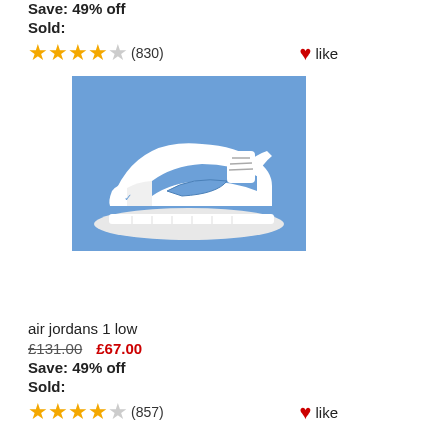Save: 49% off
Sold:
★★★★☆ (830) like
[Figure (photo): Blue and white Air Jordan 1 Low sneaker on a blue background]
air jordans 1 low
£131.00  £67.00
Save: 49% off
Sold:
★★★★☆ (857) like
[Figure (photo): White Nike sneaker with red swoosh and blue sole on light grey background]